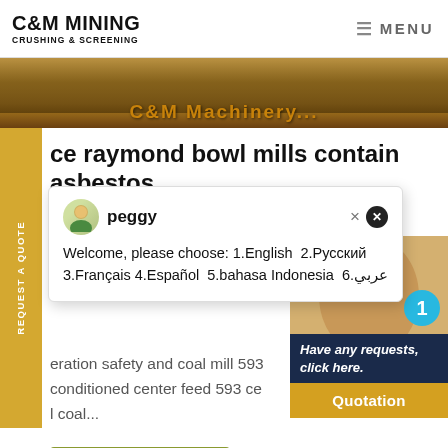C&M MINING CRUSHING & SCREENING | MENU
[Figure (photo): Hero banner image showing outdoor terrain with text overlay 'C&M Machinery']
ce raymond bowl mills contain asbestos
ul Mill Operation Cam Grinding Plant, Ball Mill
[Figure (screenshot): Chat popup from agent named 'peggy' with message: Welcome, please choose: 1.English 2.Русский 3.Français 4.Español 5.bahasa Indonesia 6.عربي]
eration safety and coal mill 593 conditioned center feed 593 ce l coal...
[Figure (photo): Customer service agent photo with headset, badge showing '1', chat CTA panel 'Have any requests, click here.' and Quotation button]
Request a quote